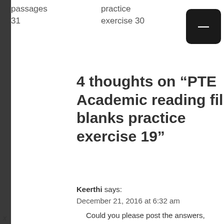passages    practice
31    exercise 30
4 thoughts on “PTE Academic reading fill blanks practice exercise 19”
Keerthi says:
December 21, 2016 at 6:32 am
Could you please post the answers,
x